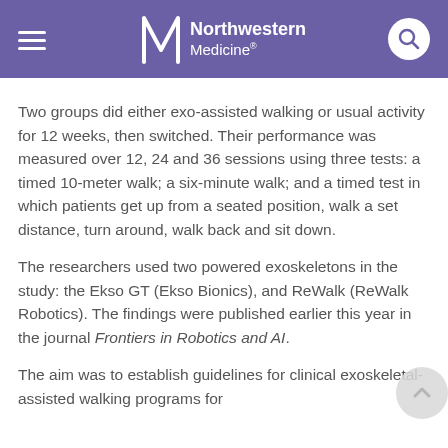Northwestern Medicine
Two groups did either exo-assisted walking or usual activity for 12 weeks, then switched. Their performance was measured over 12, 24 and 36 sessions using three tests: a timed 10-meter walk; a six-minute walk; and a timed test in which patients get up from a seated position, walk a set distance, turn around, walk back and sit down.
The researchers used two powered exoskeletons in the study: the Ekso GT (Ekso Bionics), and ReWalk (ReWalk Robotics). The findings were published earlier this year in the journal Frontiers in Robotics and AI.
The aim was to establish guidelines for clinical exoskeletal-assisted walking programs for